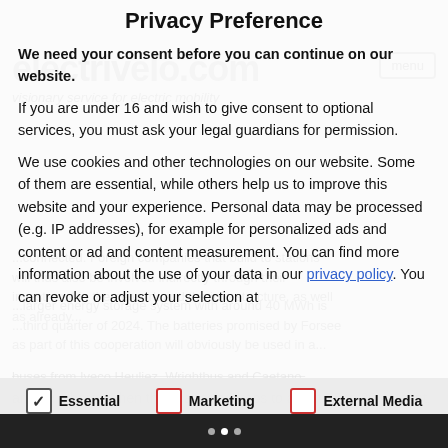Privacy Preference
We need your consent before you can continue on our website.
If you are under 16 and wish to give consent to optional services, you must ask your legal guardians for permission.
We use cookies and other technologies on our website. Some of them are essential, while others help us to improve this website and your experience. Personal data may be processed (e.g. IP addresses), for example for personalized ads and content or ad and content measurement. You can find more information about the use of your data in our privacy policy. You can revoke or adjust your selection at
Essential  Marketing  External Media
among others. When their capacity drops to about 75 to 80 percent, they are no longer suitable for vehicles, but with their considerable residual capacity they can be used in stationary energy storage systems.